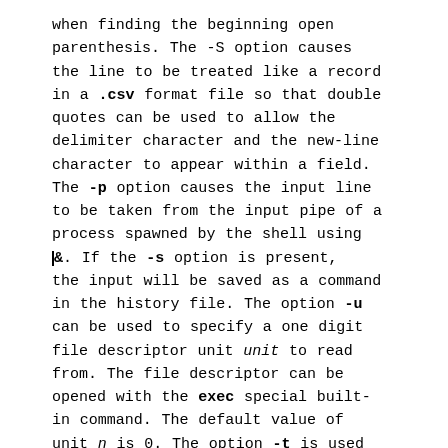when finding the beginning open parenthesis. The -S option causes the line to be treated like a record in a .csv format file so that double quotes can be used to allow the delimiter character and the new-line character to appear within a field. The -p option causes the input line to be taken from the input pipe of a process spawned by the shell using |&. If the -s option is present, the input will be saved as a command in the history file. The option -u can be used to specify a one digit file descriptor unit unit to read from. The file descriptor can be opened with the exec special built-in command. The default value of unit n is 0. The option -t is used to specify a timeout in seconds when reading from a terminal or pipe. If vname is omitted, then REPLY is used as the default target of fil